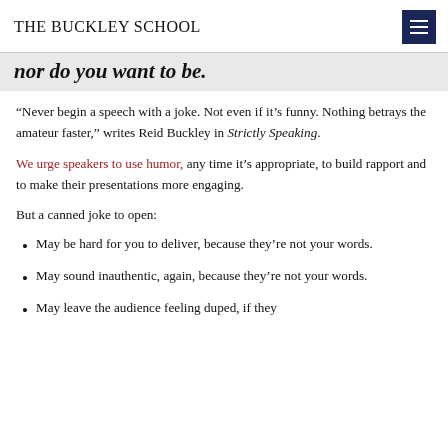THE BUCKLEY SCHOOL
nor do you want to be.
“Never begin a speech with a joke. Not even if it’s funny. Nothing betrays the amateur faster,” writes Reid Buckley in Strictly Speaking.
We urge speakers to use humor, any time it’s appropriate, to build rapport and to make their presentations more engaging.
But a canned joke to open:
May be hard for you to deliver, because they’re not your words.
May sound inauthentic, again, because they’re not your words.
May leave the audience feeling duped, if they…